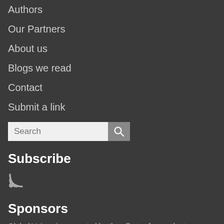Authors
Our Partners
About us
Blogs we read
Contact
Submit a link
[Figure (other): Search input box with search button icon]
Subscribe
[Figure (other): RSS feed icon]
Sponsors
Global Voices is supported by the efforts of our volunteer contributors, foundations, donors and mission-related services. For more information please read our Fundraising Ethics Policy.